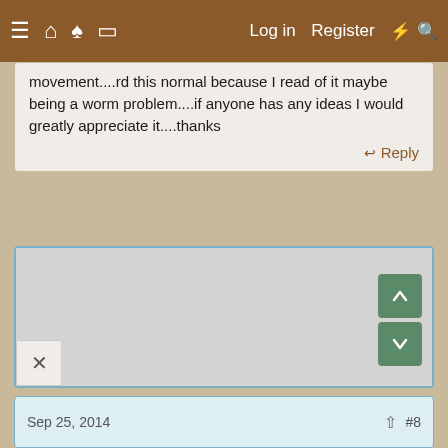≡ ⌂ ◌ ◫  Log in  Register  ⚡ 🔍
movement....rd this normal because I read of it maybe being a worm problem....if anyone has any ideas I would greatly appreciate it....thanks
↩ Reply
[Figure (other): Large gray map/image area with up and down green navigation arrow buttons]
Sep 25, 2014
#8